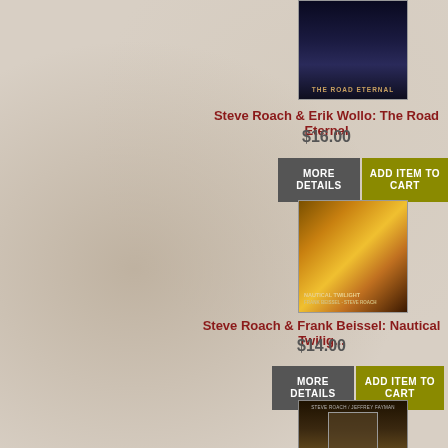[Figure (photo): Album cover for The Road Eternal by Steve Roach and Erik Wollo - dark blue/purple cityscape]
Steve Roach & Erik Wollo: The Road Eternal
$16.00
MORE DETAILS
ADD ITEM TO CART
[Figure (photo): Album cover for Nautical Twilight by Steve Roach and Frank Beissel - golden cosmic swirl]
Steve Roach & Frank Beissel: Nautical Twilig...
$14.00
MORE DETAILS
ADD ITEM TO CART
[Figure (photo): Album cover for Trance Spirits by Steve Roach and Jeffrey Fayman - brown/tan with ancient symbol]